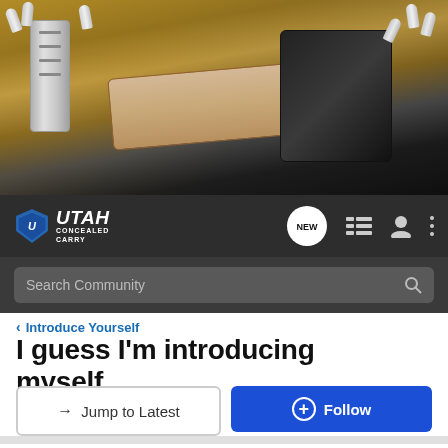[Figure (photo): Hero banner photo showing firearms components: a silver magazine, bullets, tan/beige handgun, black holster, and ammunition on a wooden surface.]
[Figure (logo): Utah Concealed Carry logo with shield icon and navigation icons (NEW chat bubble, list icon, user icon, three-dot menu) on dark navbar.]
Search Community
< Introduce Yourself
I guess I'm introducing myself....
→ Jump to Latest
+ Follow
1 - 20 of 32 Posts
1 of 2
CatBallou · Registered